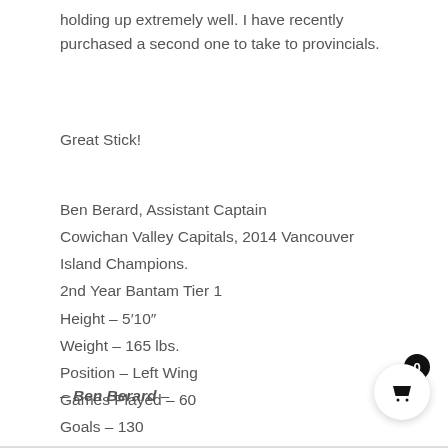holding up extremely well. I have recently purchased a second one to take to provincials.
Great Stick!
Ben Berard, Assistant Captain
Cowichan Valley Capitals, 2014 Vancouver Island Champions.
2nd Year Bantam Tier 1
Height – 5′10″
Weight – 165 lbs.
Position – Left Wing
Games Played – 60
Goals – 130
Assists – 115
Points Total – 245
– Ben Berard –